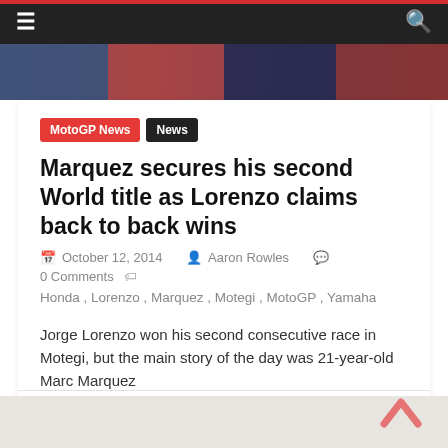≡  🔍
[Figure (photo): Hero image strip showing racing event photos]
MotoGP News
News
Marquez secures his second World title as Lorenzo claims back to back wins
October 12, 2014  Aaron Rowles  0 Comments
Honda , Lorenzo , Marquez , Motegi , MotoGP , Yamaha
Jorge Lorenzo won his second consecutive race in Motegi, but the main story of the day was 21-year-old Marc Marquez
Read more